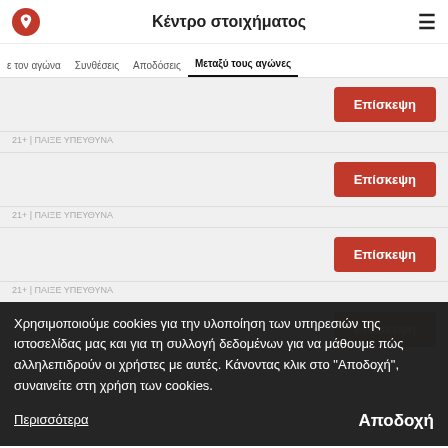Κέντρο στοιχήματος
ε τον αγώνα  Συνθέσεις  Αποδόσεις  Μεταξύ τους αγώνες
Επίσκεψη
21+ | ΠΑΙΞΕ ΥΠΕΥΘΥΝΑ
Επίσκεψη
21+ | ΠΑΙΞΕ ΥΠΕΥΘΥΝΑ
Επίσκεψη
21+ | ΠΑΙΞΕ ΥΠΕΥΘΥΝΑ
Επίσκεψη
21+ | ΠΑΙΞΕ ΥΠΕΥΘΥΝΑ
Χρησιμοποιούμε cookies για την υλοποίηση των υπηρεσιών της ιστοσελίδας μας και για τη συλλογή δεδομένων για να μάθουμε πώς αλληλεπιδρούν οι χρήστες με αυτές. Κάνοντας κλικ στο "Αποδοχή", συναινείτε στη χρήση των cookies.
Περισσότερα
Αποδοχή